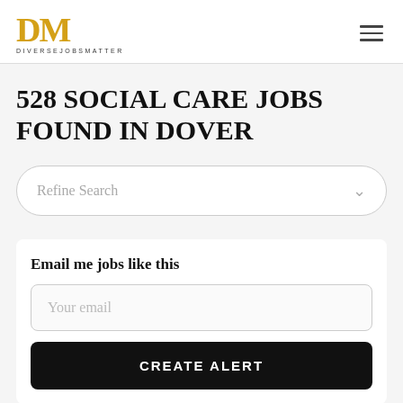[Figure (logo): DM logo in gold/amber color with 'DIVERSEJOBSMATTER' text below]
528 SOCIAL CARE JOBS FOUND IN DOVER
Refine Search
Email me jobs like this
Your email
CREATE ALERT